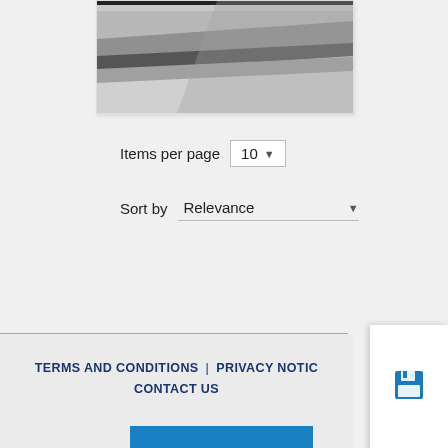[Figure (photo): Partially visible product/decorative image with diagonal grey stripes pattern, shown at top of a white card]
Items per page  10 ▾
Sort by  Relevance ▾
[Figure (infographic): Sidebar panel with three blue icons: save/floppy disk icon, envelope/email icon, and share icon]
TERMS AND CONDITIONS | PRIVACY NOTICE CONTACT US